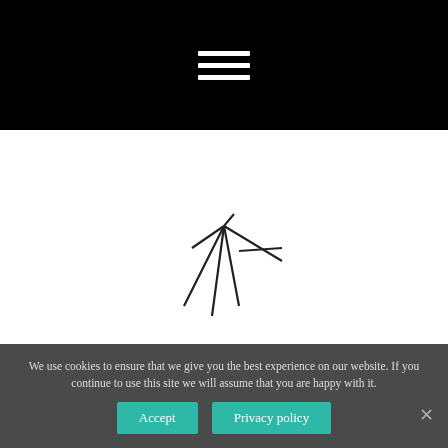[Figure (screenshot): Black navigation bar with white hamburger menu icon (three horizontal lines) centered.]
[Figure (logo): Abstract bird/wing line-art logo in black ink above the site name.]
Ohare-Airport.Org
There's A Lot Of Us Out Here That Are Birds, Man. We All Need To Just Fly
We use cookies to ensure that we give you the best experience on our website. If you continue to use this site we will assume that you are happy with it.